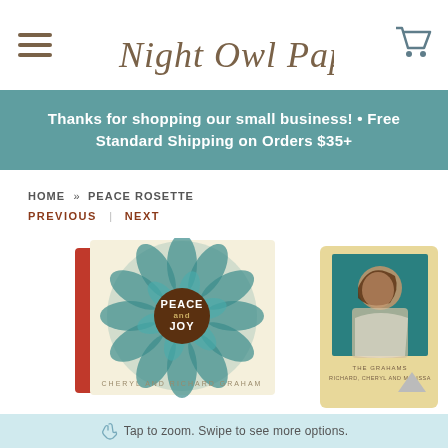Night Owl Paper Goods
Thanks for shopping our small business! • Free Standard Shipping on Orders $35+
HOME » PEACE ROSETTE
PREVIOUS | NEXT
[Figure (photo): Two holiday greeting cards: left card shows a teal rosette/mandala design with 'PEACE and JOY' text in a brown circle on cream background with red envelope; right card shows a child's photo on tan/wood background with family name text below]
Tap to zoom. Swipe to see more options.